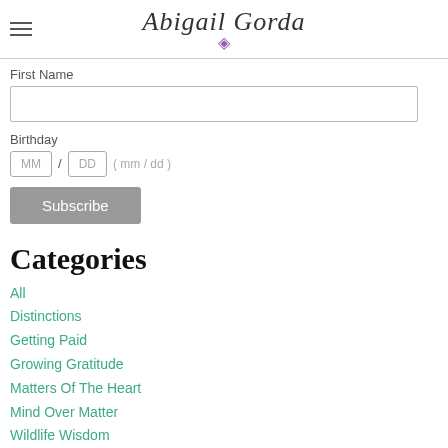Abigail Gorda
First Name
Birthday
MM / DD ( mm / dd )
Subscribe
Categories
All
Distinctions
Getting Paid
Growing Gratitude
Matters Of The Heart
Mind Over Matter
Wildlife Wisdom